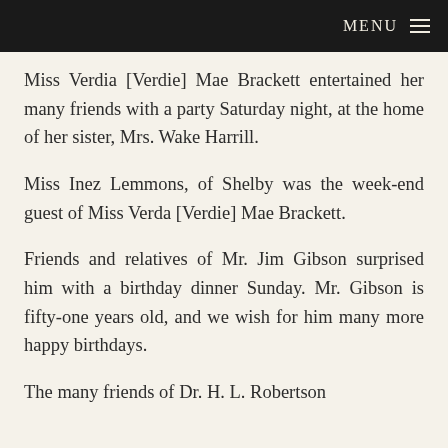MENU
Miss Verdia [Verdie] Mae Brackett entertained her many friends with a party Saturday night, at the home of her sister, Mrs. Wake Harrill.
Miss Inez Lemmons, of Shelby was the week-end guest of Miss Verda [Verdie] Mae Brackett.
Friends and relatives of Mr. Jim Gibson surprised him with a birthday dinner Sunday. Mr. Gibson is fifty-one years old, and we wish for him many more happy birthdays.
The many friends of Dr. H. L. Robertson will be glad to know that he is in recovering...